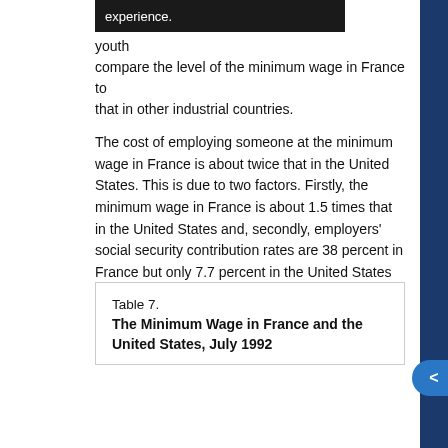youth experience. compare the level of the minimum wage in France to that in other industrial countries.
The cost of employing someone at the minimum wage in France is about twice that in the United States. This is due to two factors. Firstly, the minimum wage in France is about 1.5 times that in the United States and, secondly, employers' social security contribution rates are 38 percent in France but only 7.7 percent in the United States 13/ (Table 7).
Table 7. The Minimum Wage in France and the United States, July 1992